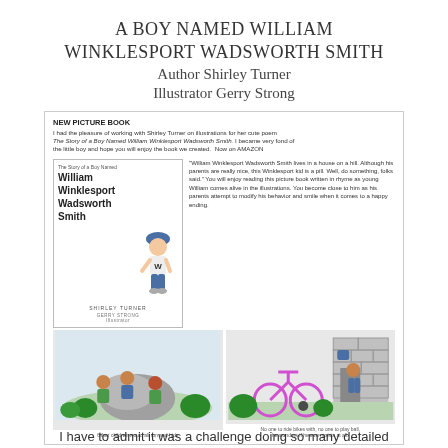A BOY NAMED WILLIAM WINKLESPORT WADSWORTH SMITH
Author Shirley Turner
Illustrator Gerry Strong
[Figure (illustration): A framed image showing a NEW PICTURE BOOK announcement with a book cover featuring William Winklesport Wadsworth Smith, a child figure illustration, a description of the book, and two illustration panels: one showing children around a rock, the other showing a boy with a bicycle near a wall. Captions below each illustration panel.]
I have to admit it was a challenge doing so many detailed